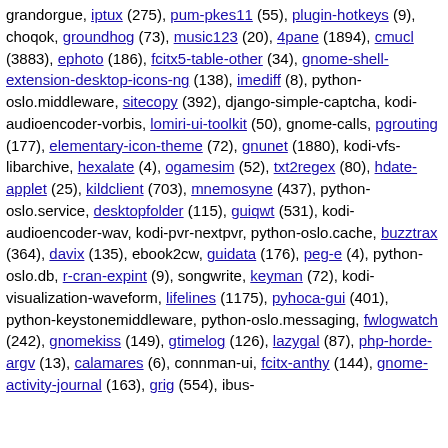grandorgue, iptux (275), pum-pkes11 (55), plugin-hotkeys (9), choqok, groundhog (73), music123 (20), 4pane (1894), cmucl (3883), ephoto (186), fcitx5-table-other (34), gnome-shell-extension-desktop-icons-ng (138), imediff (8), python-oslo.middleware, sitecopy (392), django-simple-captcha, kodi-audioencoder-vorbis, lomiri-ui-toolkit (50), gnome-calls, pgrouting (177), elementary-icon-theme (72), gnunet (1880), kodi-vfs-libarchive, hexalate (4), ogamesim (52), txt2regex (80), hdate-applet (25), kildclient (703), mnemosyne (437), python-oslo.service, desktopfolder (115), guiqwt (531), kodi-audioencoder-wav, kodi-pvr-nextpvr, python-oslo.cache, buzztrax (364), davix (135), ebook2cw, guidata (176), peg-e (4), python-oslo.db, r-cran-expint (9), songwrite, keyman (72), kodi-visualization-waveform, lifelines (1175), pyhoca-gui (401), python-keystonemiddleware, python-oslo.messaging, fwlogwatch (242), gnomekiss (149), gtimelog (126), lazygal (87), php-horde-argv (13), calamares (6), connman-ui, fcitx-anthy (144), gnome-activity-journal (163), grig (554), ibus-